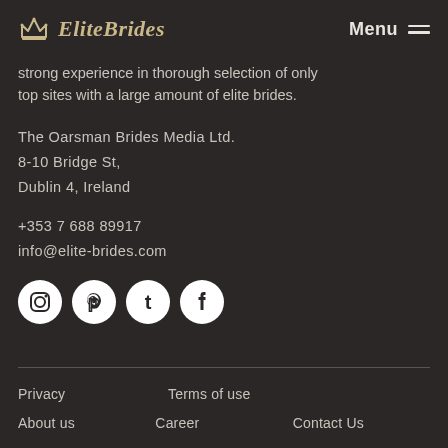EliteBrides  Menu
strong experience in thorough selection of only top sites with a large amount of elite brides.
The Oarsman Brides Media Ltd.
8-10 Bridge St,
Dublin 4, Ireland
+353 7 688 89917
info@elite-brides.com
[Figure (illustration): Social media icons: Instagram, Pinterest, Tumblr, Facebook — white circles on dark background]
Privacy   Terms of use
About us   Career   Contact Us